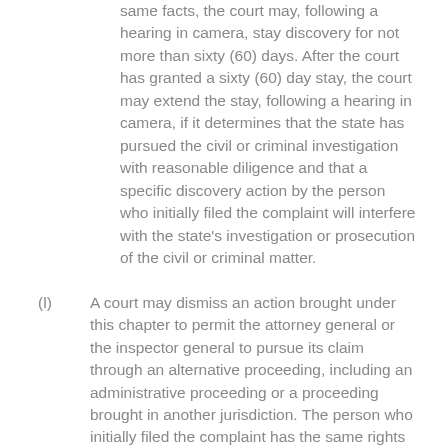same facts, the court may, following a hearing in camera, stay discovery for not more than sixty (60) days. After the court has granted a sixty (60) day stay, the court may extend the stay, following a hearing in camera, if it determines that the state has pursued the civil or criminal investigation with reasonable diligence and that a specific discovery action by the person who initially filed the complaint will interfere with the state's investigation or prosecution of the civil or criminal matter.
(l)  A court may dismiss an action brought under this chapter to permit the attorney general or the inspector general to pursue its claim through an alternative proceeding, including an administrative proceeding or a proceeding brought in another jurisdiction. The person who initially filed the complaint has the same rights in the alternative proceedings as the